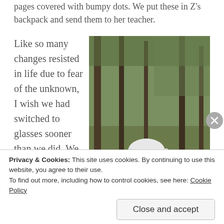pages covered with bumpy dots. We put these in Z's backpack and send them to her teacher.
Like so many changes resisted in life due to fear of the unknown, I wish we had switched to glasses sooner than we did. We
[Figure (photo): A young girl with white/blonde hair wearing glasses and a colorful polka dot jacket with striped pants, standing outdoors in a forest with autumn leaves on the ground, next to a small black and white goat.]
Privacy & Cookies: This site uses cookies. By continuing to use this website, you agree to their use.
To find out more, including how to control cookies, see here: Cookie Policy
Close and accept